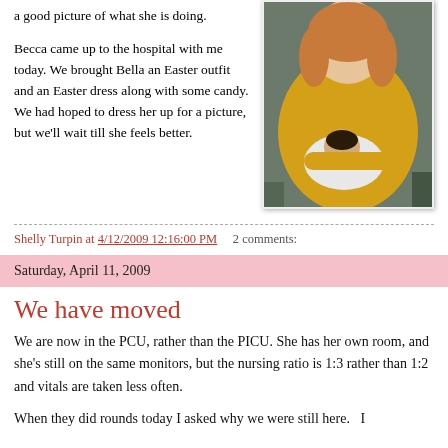a good picture of what she is doing.
Becca came up to the hospital with me today.  We brought Bella an Easter outfit and an Easter dress along with some candy.  We had hoped to dress her up for a picture, but we'll wait till she feels better.
[Figure (photo): Woman in yellow shirt holding a newborn baby in a hospital setting]
Shelly Turpin at 4/12/2009 12:16:00 PM    2 comments:
Saturday, April 11, 2009
We have moved
We are now in the PCU, rather than the PICU.  She has her own room, and she's still on the same monitors, but the nursing ratio is 1:3 rather than 1:2 and vitals are taken less often.
When they did rounds today I asked why we were still here.   I